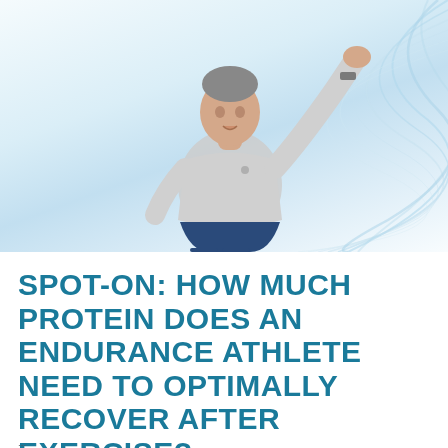[Figure (photo): Older man in a grey t-shirt and dark shorts with one arm raised, posed against a light blue and white abstract wave background]
SPOT-ON: HOW MUCH PROTEIN DOES AN ENDURANCE ATHLETE NEED TO OPTIMALLY RECOVER AFTER EXERCISE?
...